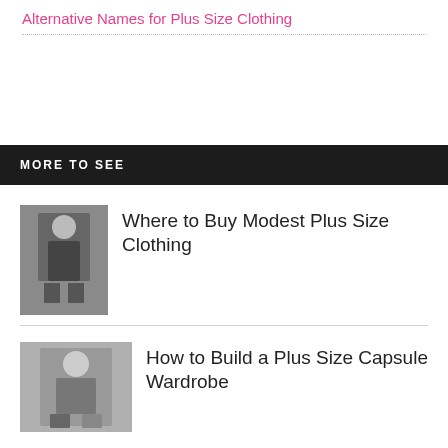Alternative Names for Plus Size Clothing
MORE TO SEE
Where to Buy Modest Plus Size Clothing
How to Build a Plus Size Capsule Wardrobe